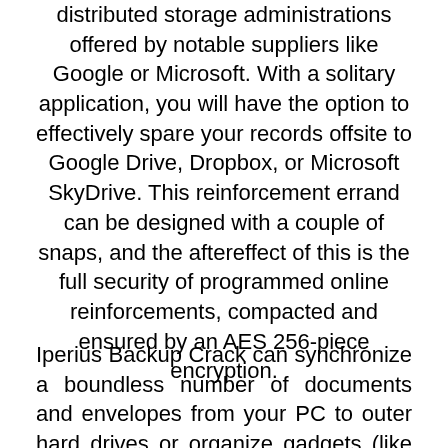distributed storage administrations offered by notable suppliers like Google or Microsoft. With a solitary application, you will have the option to effectively spare your records offsite to Google Drive, Dropbox, or Microsoft SkyDrive. This reinforcement errand can be designed with a couple of snaps, and the aftereffect of this is the full security of programmed online reinforcements, compacted and ensured by an AES 256-piece encryption.
Iperius Backup Crack can synchronize a boundless number of documents and envelopes from your PC to outer hard drives or organize gadgets (like NAS servers). You